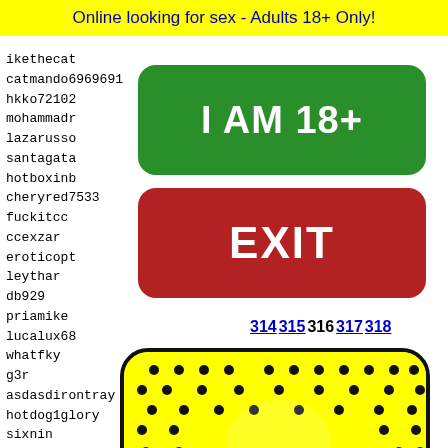Online looking for sex - Adults 18+ Only!
ikethecat
catmando6969691
hkko72102
mohammadr
lazarusso
santagata
hotboxinb
cheryred7533
fuckitcc
ccexzar
eroticopt
leythar
db929
priamike
lucalux68
whatfky
g3r
asdasdirontray
hotdog1glory
sixnin
charli
skinsl
megaje
lfnlim
ahhali
[Figure (infographic): Green button saying I AM 18+]
[Figure (infographic): Red button saying EXIT]
314 315 316 317 318
[Figure (illustration): Snapchat ghost logo on yellow background with black dots pattern]